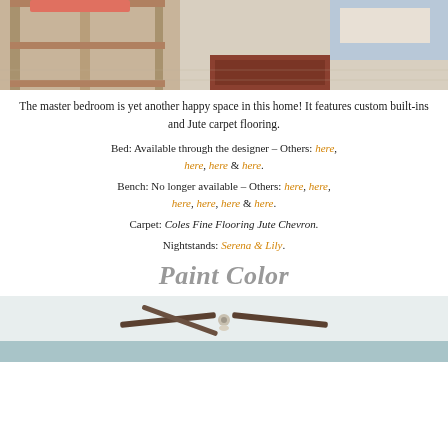[Figure (photo): Interior photo of master bedroom showing wooden shelving unit/nightstand and bed with carpeted floor]
The master bedroom is yet another happy space in this home! It features custom built-ins and Jute carpet flooring.
Bed: Available through the designer – Others: here, here, here & here.
Bench: No longer available – Others: here, here, here, here & here.
Carpet: Coles Fine Flooring Jute Chevron.
Nightstands: Serena & Lily.
Paint Color
[Figure (photo): Interior photo showing ceiling with a ceiling fan mounted, light blue/grey paint visible on wall]